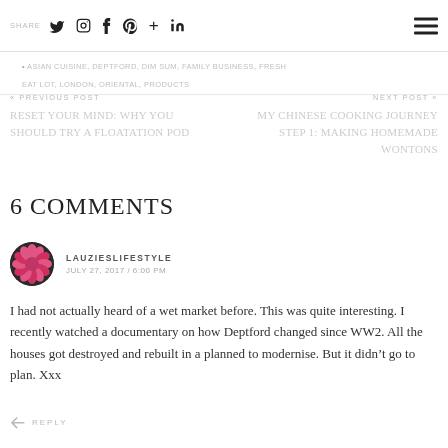SHARE social icons and hamburger menu
ASIAN CUISINE, DEPTFORD, DIM SUM, FAMILY BUSINESS, FRESH EAT LOT, LONDON, ORIENTAL, PRODUCTS
« PREVIOUS POST
RESET YOUR MIND: WHY YOU SHOULD TRY A FLOATATION POD
NEXT POST »
MY CHINESE COOKING JOURNEY STEP 1: MAKING HOMEMADE WONTONS
6 COMMENTS
LAUZIESLIFESTYLE
JULY 27, 2017 / 6:00 PM
I had not actually heard of a wet market before. This was quite interesting. I recently watched a documentary on how Deptford changed since WW2. All the houses got destroyed and rebuilt in a planned to modernise. But it didn’t go to plan. Xxx
REPLY